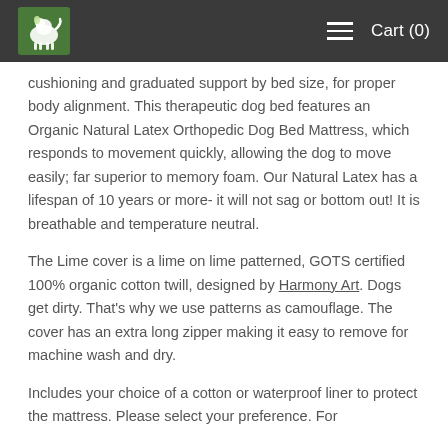Cart (0)
cushioning and graduated support by bed size, for proper body alignment. This therapeutic dog bed features an Organic Natural Latex Orthopedic Dog Bed Mattress, which responds to movement quickly, allowing the dog to move easily; far superior to memory foam. Our Natural Latex has a lifespan of 10 years or more- it will not sag or bottom out! It is breathable and temperature neutral.
The Lime cover is a lime on lime patterned, GOTS certified 100% organic cotton twill, designed by Harmony Art. Dogs get dirty. That's why we use patterns as camouflage. The cover has an extra long zipper making it easy to remove for machine wash and dry.
Includes your choice of a cotton or waterproof liner to protect the mattress. Please select your preference. For